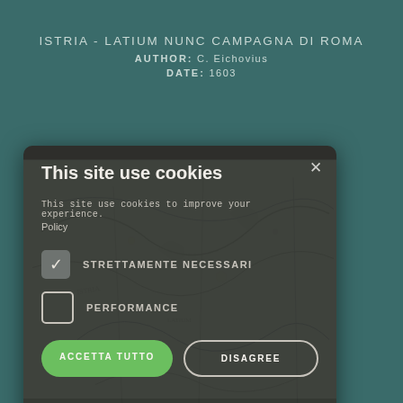ISTRIA - LATIUM NUNC CAMPAGNA DI ROMA
AUTHOR: C. Eichovius
DATE: 1603
This site use cookies
This site use cookies to improve your experience.
Policy
✓ STRETTAMENTE NECESSARI
□ PERFORMANCE
ACCETTA TUTTO | DISAGREE
⚙ MOSTRA DETTAGLI